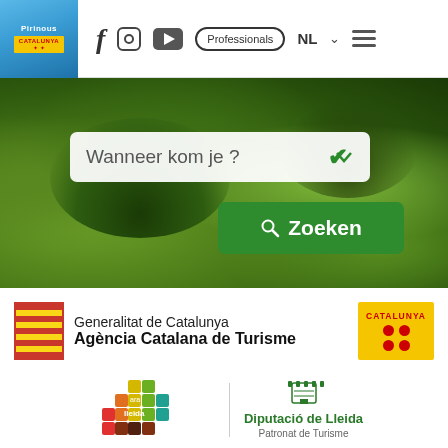[Figure (screenshot): Website header with Pirinous/Catalunya logo, Facebook, Instagram, YouTube icons, Professionals button, NL language selector, and hamburger menu]
[Figure (screenshot): Hero landscape background with green mossy rocky terrain and trees, containing a search box 'Wanneer kom je ?' with dropdown chevron and a green 'Zoeken' search button]
[Figure (logo): Generalitat de Catalunya / Agència Catalana de Turisme logo with Catalan flag and yellow Catalunya badge with red dots]
[Figure (logo): Ara Lleida colorful pixel logo alongside Diputació de Lleida Patronat de Turisme logo]